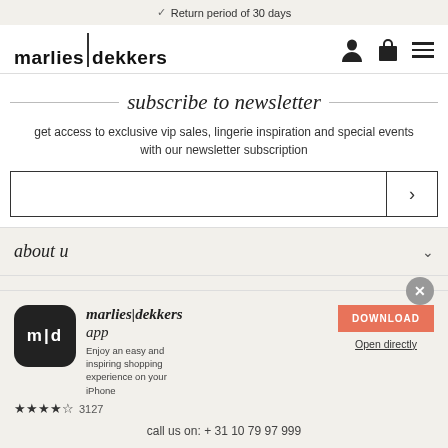Return period of 30 days
[Figure (logo): marlies|dekkers logo with bold sans-serif text and vertical divider]
subscribe to newsletter
get access to exclusive vip sales, lingerie inspiration and special events with our newsletter subscription
[Figure (screenshot): Email subscription input field with right arrow submit button]
about u
need hei
[Figure (screenshot): marlies|dekkers app download popup with app icon, description, download button, stars rating 3127, and call us on: +31 10 79 97 999]